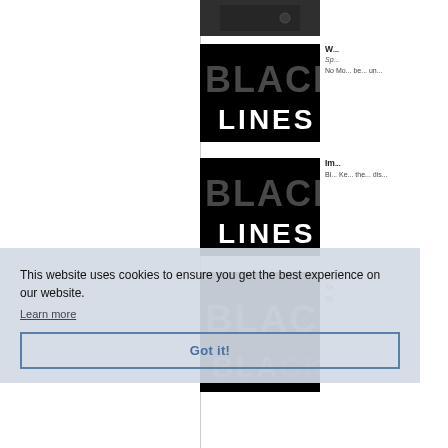[Figure (photo): Partial thumbnail of a dark clothing/jacket image at top]
[Figure (illustration): Black background with large grey text 'BLACK' and white text 'LINES' overlaid]
W...
Sp...
No Mo...
be...
un...
[Figure (illustration): Black background with large grey text 'BLACK' and white text 'LINES' overlaid - second instance]
Im...
Bl... Ke...
the...
dis...
[Figure (illustration): Black background with large grey text 'BLACK' partially visible]
Pr...
Ta...
Sp...
This website uses cookies to ensure you get the best experience on our website.
Learn more
Got it!